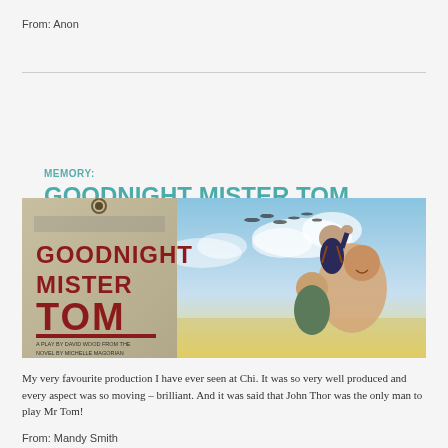From: Anon
[Figure (photo): Promotional image for Goodnight Mister Tom (2013) stage production. Left side shows a luggage-tag style poster with red text reading 'GOODNIGHT MISTER TOM' and smaller text 'A PLAY BY DAVID WOOD FROM THE NOVEL BY MICHELLE MAGORIAN'. Right side shows actors: a boy sitting on a man's shoulders raising his fist, with a woman below them, against a blue sky with WWII aircraft silhouettes.]
MEMORY:
GOODNIGHT MISTER TOM (2013)
My very favourite production I have ever seen at Chi. It was so very well produced and every aspect was so moving – brilliant. And it was said that John Thor was the only man to play Mr Tom!
From: Mandy Smith